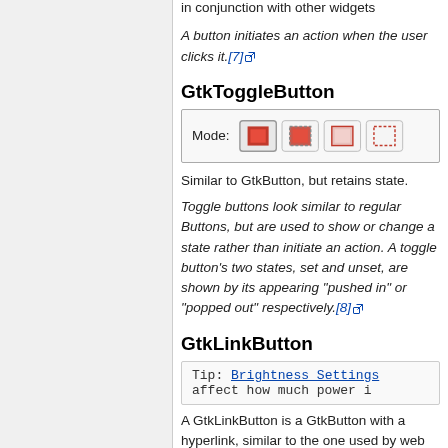in conjunction with other widgets
A button initiates an action when the user clicks it.[7]
GtkToggleButton
[Figure (screenshot): Mode selector widget showing four toggle button states with pixelated red square icons]
Similar to GtkButton, but retains state.
Toggle buttons look similar to regular Buttons, but are used to show or change a state rather than initiate an action. A toggle button's two states, set and unset, are shown by its appearing "pushed in" or "popped out" respectively.[8]
GtkLinkButton
[Figure (screenshot): Tip box showing: Brightness Settings affect how much power i]
A GtkLinkButton is a GtkButton with a hyperlink, similar to the one used by web